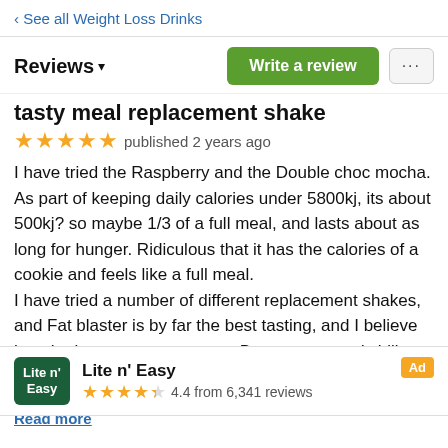‹ See all Weight Loss Drinks
Reviews ▾
tasty meal replacement shake
★★★★★ published 2 years ago
I have tried the Raspberry and the Double choc mocha. As part of keeping daily calories under 5800kj, its about 500kj? so maybe 1/3 of a full meal, and lasts about as long for hunger. Ridiculous that it has the calories of a cookie and feels like a full meal.
I have tried a number of different replacement shakes, and Fat blaster is by far the best tasting, and I believe has the lowest sugar content. Best to prep and chill overnight, helps it thicken up,
Lite n' Easy — Ad — 4.4 from 6,341 reviews
Read more